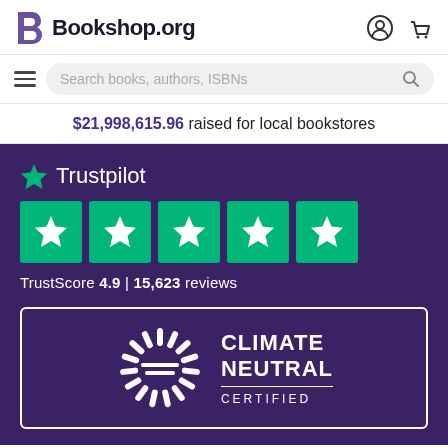[Figure (logo): Bookshop.org logo with stylized B and wordmark, plus user account and cart icons]
[Figure (infographic): Search bar with hamburger menu, search placeholder text 'Search books, authors, ISBNs', and magnifying glass icon]
$21,998,615.96 raised for local bookstores
[Figure (infographic): Trustpilot rating widget showing 5 green star boxes and TrustScore 4.9 with 15,623 reviews, on dark purple background]
[Figure (logo): Climate Neutral Certified badge with sunburst logo on dark purple background inside white border rectangle]